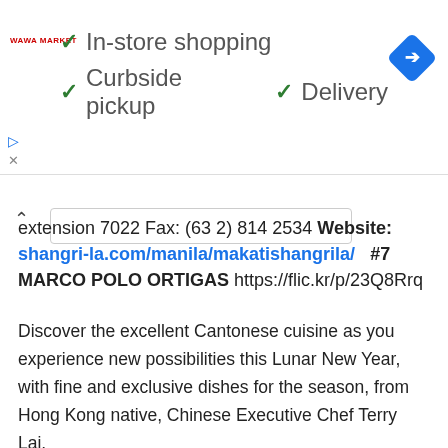[Figure (infographic): Advertisement banner with Wawa Market logo and checkmarks for In-store shopping, Curbside pickup, Delivery, and a blue navigation diamond icon]
extension 7022 Fax: (63 2) 814 2534 Website: shangri-la.com/manila/makatishangrila/  #7 MARCO POLO ORTIGAS https://flic.kr/p/23Q8Rrq
Discover the excellent Cantonese cuisine as you experience new possibilities this Lunar New Year, with fine and exclusive dishes for the season, from Hong Kong native, Chinese Executive Chef Terry Lai.
With the coming of the Year of the Earth Dog, the award-winning Cantonese restaurant, Lung Hin, is bringing special dishes to the table, available only for